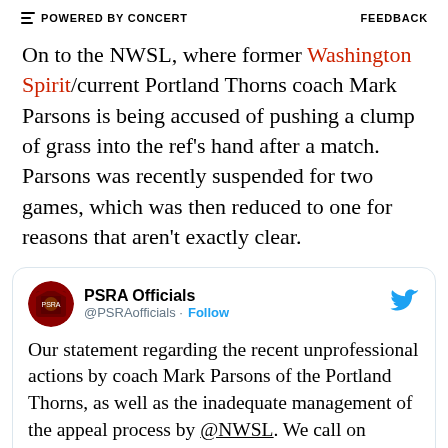POWERED BY CONCERT   FEEDBACK
On to the NWSL, where former Washington Spirit/current Portland Thorns coach Mark Parsons is being accused of pushing a clump of grass into the ref's hand after a match. Parsons was recently suspended for two games, which was then reduced to one for reasons that aren't exactly clear.
[Figure (screenshot): Embedded tweet from @PSRAofficials. PSRA Officials @PSRAofficials · Follow. Our statement regarding the recent unprofessional actions by coach Mark Parsons of the Portland Thorns, as well as the inadequate management of the appeal process by @NWSL. We call on NWSL & @ussoccer to substantially improve their [continues]]